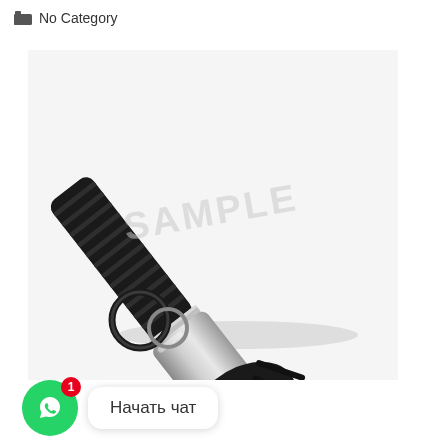No Category
[Figure (photo): Air suspension strut / air spring assembly for automotive (car suspension part), black and silver, with two O-rings shown separately below it. Watermark text 'SAMPLE' overlaid on the image.]
Начать чат